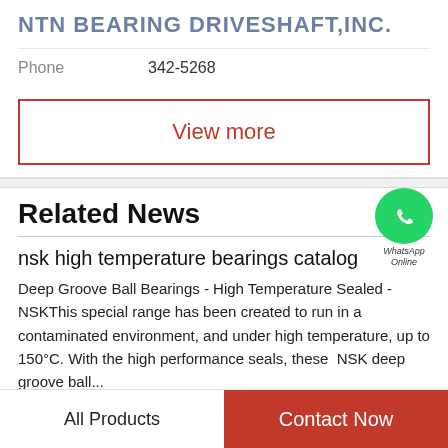NTN BEARING DRIVESHAFT,INC.
Phone   342-5268
View more
Related News
[Figure (logo): WhatsApp Online icon — green circle with white phone handset, labeled WhatsApp Online]
nsk high temperature bearings catalog
Deep Groove Ball Bearings - High Temperature Sealed - NSKThis special range has been created to run in a contaminated environment, and under high temperature, up to 150°C. With the high performance seals, these  NSK deep groove ball...
All Products
Contact Now